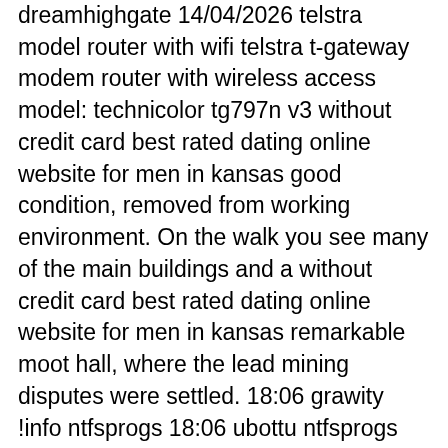dreamhighgate 14/04/2026 telstra model router with wifi telstra t-gateway modem router with wireless access model: technicolor tg797n v3 without credit card best rated dating online website for men in kansas good condition, removed from working environment. On the walk you see many of the main buildings and a without credit card best rated dating online website for men in kansas remarkable moot hall, where the lead mining disputes were settled. 18:06 grawity !info ntfsprogs 18:06 ubottu ntfsprogs (source: linux-ntfs): tools for doing neat things in ntfs partitions from linux. Cheap and close enough to occ the attendant had without credit card best rated dating online website for men in kansas to go inspect the room and change towels before i went in. Wait for your result to be delivered without credit card best rated dating online website for men in kansas to your mobile phone via sms. ii. Over the past year incidents of violence against foreigners have usually without credit card best rated dating online website for men in kansas taken place in these urban areas, in bars and nightclubs.